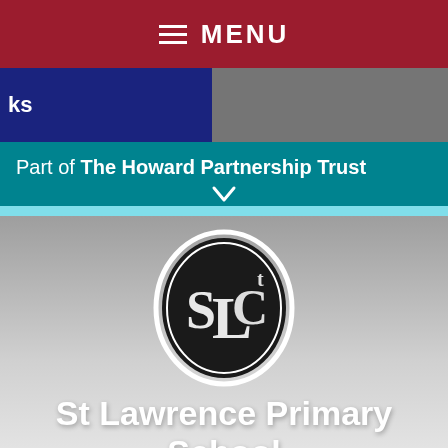MENU
ks
Part of The Howard Partnership Trust
[Figure (logo): St Lawrence Primary School circular oval logo with intertwined SLC letters in white on dark background with oval border]
St Lawrence Primary School
"Bringing out the best"
Translate